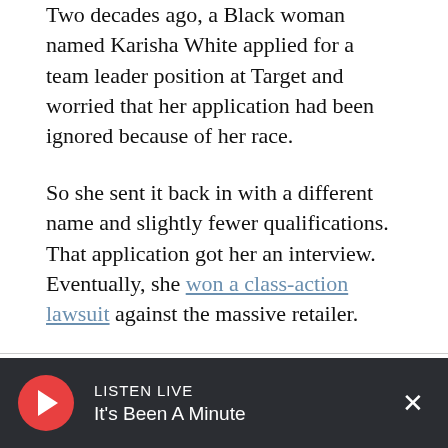Two decades ago, a Black woman named Karisha White applied for a team leader position at Target and worried that her application had been ignored because of her race.
So she sent it back in with a different name and slightly fewer qualifications. That application got her an interview. Eventually, she won a class-action lawsuit against the massive retailer.
WBUR is a nonprofit news organization. Our coverage relies on your financial support. If you value articles like the one you're reading right now,
LISTEN LIVE
It's Been A Minute